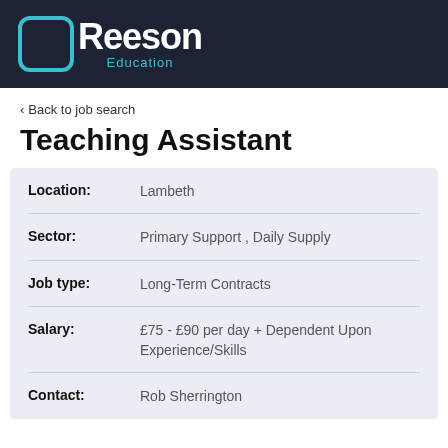[Figure (logo): Reeson Education logo — white text on dark navy background with teal bracket icon]
< Back to job search
Teaching Assistant
| Field | Value |
| --- | --- |
| Location: | Lambeth |
| Sector: | Primary Support , Daily Supply |
| Job type: | Long-Term Contracts |
| Salary: | £75 - £90 per day + Dependent Upon Experience/Skills |
| Contact: | Rob Sherrington |